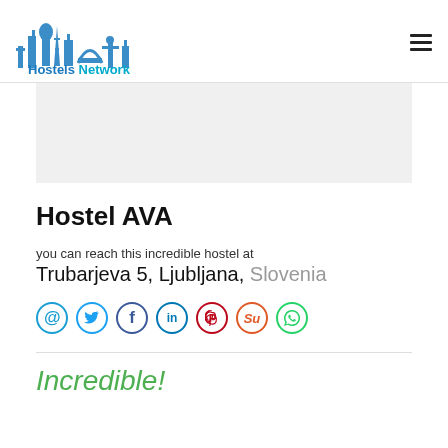[Figure (logo): Hostels Network logo with city skyline silhouette in blue tones and text 'Hostels Network']
Hostel AVA
you can reach this incredible hostel at
Trubarjeva 5, Ljubljana, Slovenia
[Figure (infographic): Social media icons: @ (email), Twitter bird, Facebook f, LinkedIn in, Pinterest P, StumbleUpon Su, WhatsApp phone]
Incredible!